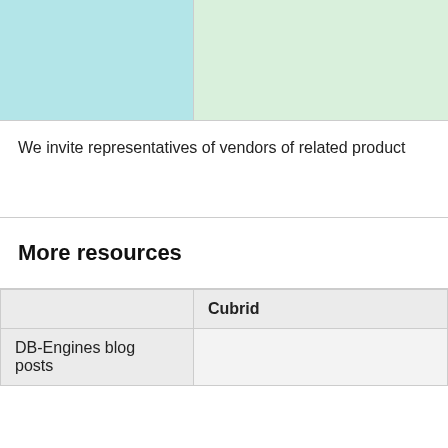[Figure (other): Two colored header cells: left cell in teal/cyan color, right cell in light green color, part of a comparison table header row.]
We invite representatives of vendors of related product
More resources
|  | Cubrid |
| --- | --- |
| DB-Engines blog posts |  |